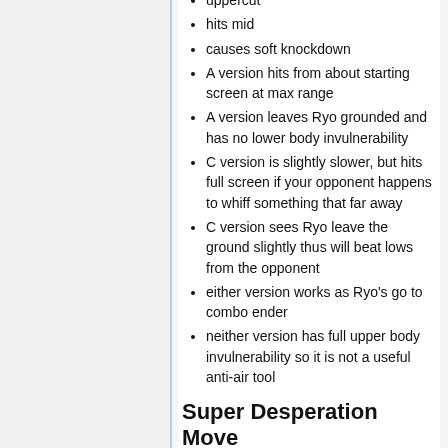uppercut
hits mid
causes soft knockdown
A version hits from about starting screen at max range
A version leaves Ryo grounded and has no lower body invulnerability
C version is slightly slower, but hits full screen if your opponent happens to whiff something that far away
C version sees Ryo leave the ground slightly thus will beat lows from the opponent
either version works as Ryo's go to combo ender
neither version has full upper body invulnerability so it is not a useful anti-air tool
Super Desperation Move